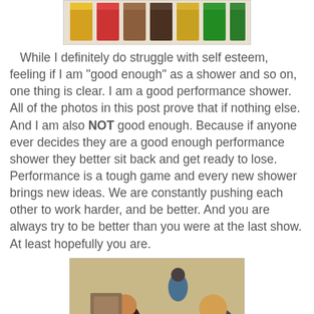[Figure (photo): Partial image of colorful ribbon awards at the top of the page]
While I definitely do struggle with self esteem, feeling if I am "good enough" as a shower and so on, one thing is clear. I am a good performance shower. All of the photos in this post prove that if nothing else. And I am also NOT good enough. Because if anyone ever decides they are a good enough performance shower they better sit back and get ready to lose. Performance is a tough game and every new shower brings new ideas. We are constantly pushing each other to work harder, and be better. And you are always try to be better than you were at the last show. At least hopefully you are.
[Figure (photo): Photo of two girls looking at model horses and pink flower rosette ribbons on a table at a show]